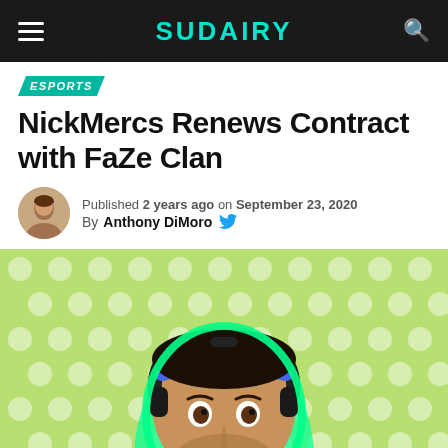SUDAIRY
ESPORTS
NickMercs Renews Contract with FaZe Clan
Published 2 years ago on September 23, 2020
By Anthony DiMoro
[Figure (photo): NickMercs wearing headphones and a blue headband, pictured against a green polka-dot background with a glowing green outline effect.]